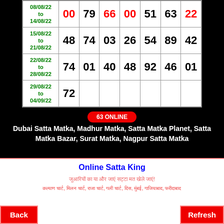| Date | Col1 | Col2 | Col3 | Col4 | Col5 | Col6 | Col7 |
| --- | --- | --- | --- | --- | --- | --- | --- |
| 08/08/22 to 14/08/22 | 00 | 79 | 66 | 00 | 51 | 63 | 22 |
| 15/08/22 to 21/08/22 | 48 | 74 | 03 | 26 | 54 | 89 | 42 |
| 22/08/22 to 28/08/22 | 74 | 01 | 40 | 48 | 92 | 46 | 01 |
| 29/08/22 to 04/09/22 | 72 |  |  |  |  |  |  |
63 ONLINE
Dubai Satta Matka, Madhur Matka, Satta Matka Planet, Satta Matka Bazar, Surat Matka, Nagpur Satta Matka
Online Satta King
जुआरियों का या और जाएं सट्टा मत खेले जाएं!
कल्याण चार्ट, मिलन चार्ट, राजा चार्ट, गली चार्ट, दिस, मुंबई, गाजियाबाद, फरीदाबाद